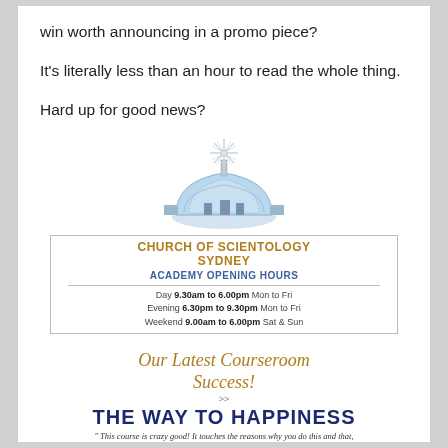win worth announcing in a promo piece?
It's literally less than an hour to read the whole thing.
Hard up for good news?
[Figure (illustration): Church of Scientology Sydney logo — a domed building with a starburst spire, rendered in blue and silver tones]
CHURCH OF SCIENTOLOGY SYDNEY
ACADEMY OPENING HOURS
Day 9.30am to 6.00pm Mon to Fri
Evening 6.30pm to 9.30pm Mon to Fri
Weekend 9.00am to 6.00pm Sat & Sun
Our Latest Courseroom Success!
THE WAY TO HAPPINESS
" This course is crazy good! It touches the reasons why you do this and that, then receives the data on top of that, which handles those difficulties. And